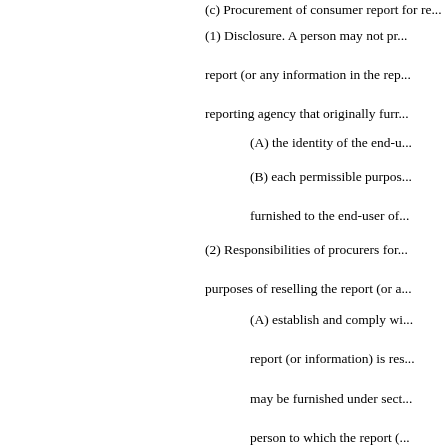(c) Procurement of consumer report for re...
(1) Disclosure. A person may not pr... report (or any information in the rep... reporting agency that originally furr...
(A) the identity of the end-u...
(B) each permissible purpos... furnished to the end-user of...
(2) Responsibilities of procurers for... purposes of reselling the report (or a...
(A) establish and comply wi... report (or information) is res... may be furnished under sect... person to which the report (... report (or information) to an...
(i) identifies each en...
(ii) certifies each pu... and
(iii) certifies that the... purpose; and